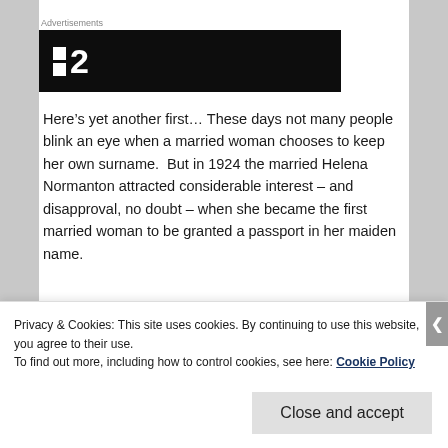Advertisements
[Figure (other): Black banner advertisement with white squares icon and number 2]
Here’s yet another first… These days not many people blink an eye when a married woman chooses to keep her own surname.  But in 1924 the married Helena Normanton attracted considerable interest – and disapproval, no doubt – when she became the first married woman to be granted a passport in her maiden name.
Privacy & Cookies: This site uses cookies. By continuing to use this website, you agree to their use.
To find out more, including how to control cookies, see here: Cookie Policy